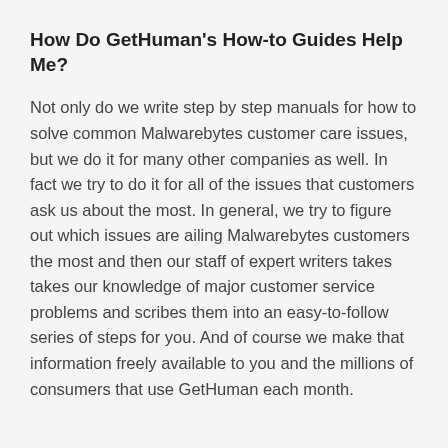How Do GetHuman's How-to Guides Help Me?
Not only do we write step by step manuals for how to solve common Malwarebytes customer care issues, but we do it for many other companies as well. In fact we try to do it for all of the issues that customers ask us about the most. In general, we try to figure out which issues are ailing Malwarebytes customers the most and then our staff of expert writers takes takes our knowledge of major customer service problems and scribes them into an easy-to-follow series of steps for you. And of course we make that information freely available to you and the millions of consumers that use GetHuman each month.